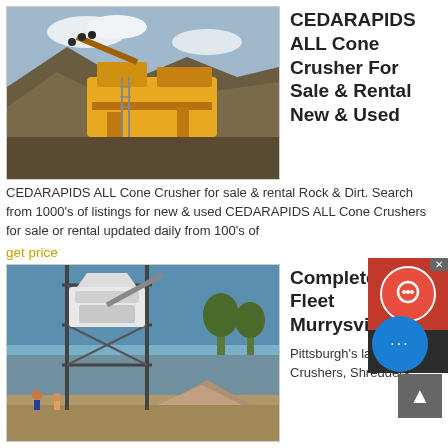[Figure (photo): Yellow mobile cone crusher machine at a mining site with large gravel piles and workers visible]
CEDARAPIDS ALL Cone Crusher For Sale & Rental New & Used
CEDARAPIDS ALL Cone Crusher for sale & rental Rock & Dirt. Search from 1000's of listings for new & used CEDARAPIDS ALL Cone Crushers for sale or rental updated daily from 100's of
get price
[Figure (photo): White industrial crusher machine on a tall steel frame structure at a construction or mining site]
Complete Rental Fleet Murrysvillema chinery
Pittsburgh's largest rental fleet of Crushers, Shredders,